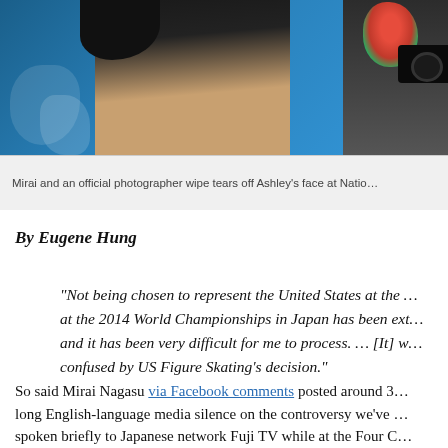[Figure (photo): Photo of a figure skater and an official photographer at Nationals; blue event backdrop visible]
Mirai and an official photographer wipe tears off Ashley's face at Natio…
By Eugene Hung
“Not being chosen to represent the United States at the … at the 2014 World Championships in Japan has been ext… and it has been very difficult for me to process. … [It] w… confused by US Figure Skating’s decision.”
So said Mirai Nagasu via Facebook comments posted around 3… long English-language media silence on the controversy we’ve … spoken briefly to Japanese network Fuji TV while at the Four C… Toky…